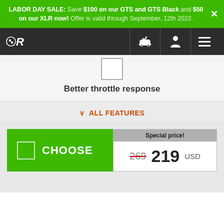LABOR DAY SALE: Save $100 on our GTS and GTS Black and $50 on our XLR now! Offer is valid through September, 12th 2022.
[Figure (logo): Racing logo with checkered flag R mark and nav icons including car with checkmark, person icon, and hamburger menu on dark navbar]
Better throttle response
ALL FEATURES
Special price!
CHOOSE 269 219 USD